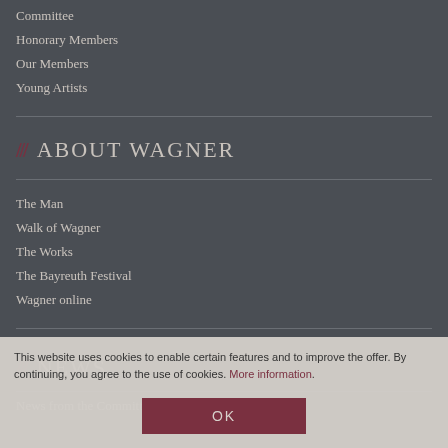Committee
Honorary Members
Our Members
Young Artists
/// ABOUT WAGNER
The Man
Walk of Wagner
The Works
The Bayreuth Festival
Wagner online
/// NEWS
News from the Committ
This website uses cookies to enable certain features and to improve the offer. By continuing, you agree to the use of cookies. More information.